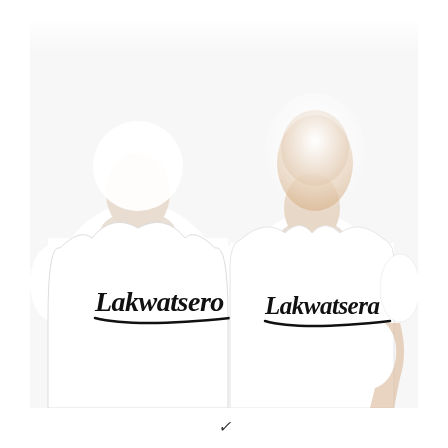[Figure (photo): Two people wearing white t-shirts. Left person's shirt reads 'Lakwatsero' in black script/athletic font with an underline swoosh. Right person's shirt reads 'Lakwatsera' in the same style font with an underline swoosh. Both individuals' faces are cropped/faded out. Background is white.]